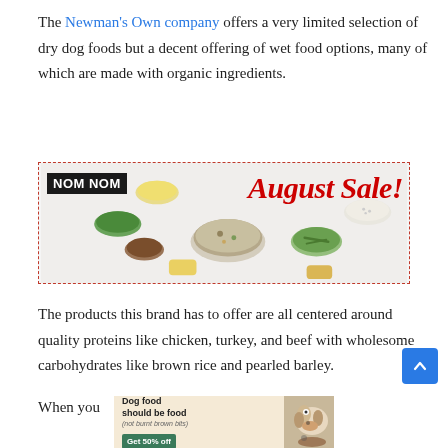The Newman's Own company offers a very limited selection of dry dog foods but a decent offering of wet food options, many of which are made with organic ingredients.
[Figure (infographic): Advertisement banner with dashed red border showing NOM NOM logo, bowls of dog food ingredients, and 'August Sale!' text in red italic script.]
The products this brand has to offer are all centered around quality proteins like chicken, turkey, and beef with wholesome carbohydrates like brown rice and pearled barley.
When you
[Figure (infographic): Bottom advertisement banner: 'Dog food should be food (not burnt brown bits)' with a 'Get 50% off' button and a dog photo on the right.]